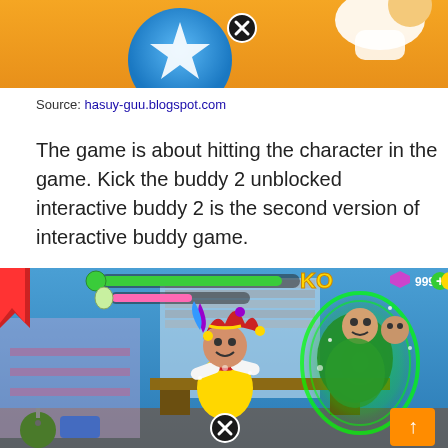[Figure (screenshot): Game screenshot showing a blue bowling ball character with a white star on it and a close button (X) on yellow/orange background]
Source: hasuy-guu.blogspot.com
The game is about hitting the character in the game. Kick the buddy 2 unblocked interactive buddy 2 is the second version of interactive buddy game.
[Figure (screenshot): Game screenshot of Kick the Buddy 2 showing a jester character in a room with KO text, health bars, gem counter showing 99999+, and a green glowing character on the right side. Orange up-arrow button in bottom right.]